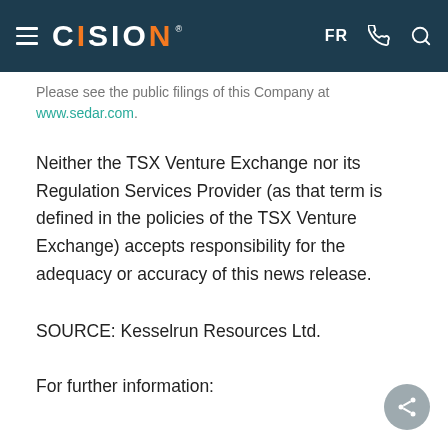CISION | FR
Please see the public filings of the Company at www.sedar.com.
Neither the TSX Venture Exchange nor its Regulation Services Provider (as that term is defined in the policies of the TSX Venture Exchange) accepts responsibility for the adequacy or accuracy of this news release.
SOURCE: Kesselrun Resources Ltd.
For further information: